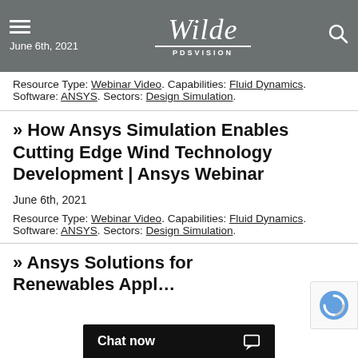Wilde PDSVISION | June 6th, 2021
Resource Type: Webinar Video. Capabilities: Fluid Dynamics. Software: ANSYS. Sectors: Design Simulation.
» How Ansys Simulation Enables Cutting Edge Wind Technology Development | Ansys Webinar
June 6th, 2021
Resource Type: Webinar Video. Capabilities: Fluid Dynamics. Software: ANSYS. Sectors: Design Simulation.
» Ansys Solutions for Renewables Appl…